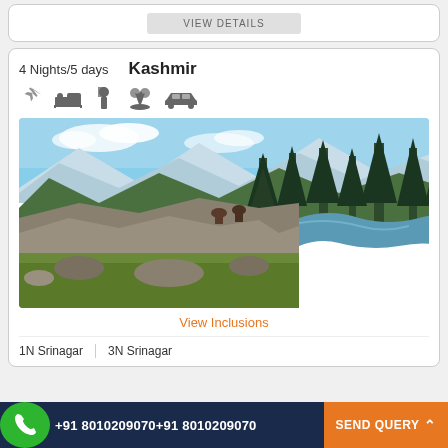[Figure (screenshot): Top card with VIEW DETAILS button (partially visible at top)]
4 Nights/5 days
Kashmir
[Figure (illustration): Travel amenity icons: flight, hotel/bed, dining, sightseeing/nature, car]
[Figure (photo): Kashmir landscape photo showing rocky riverbank with green meadow, tall pine trees, mountains with snow in background, and clear blue sky]
View Inclusions
1N Srinagar   3N Srinagar
+91 8010209070+91 8010209070   SEND QUERY